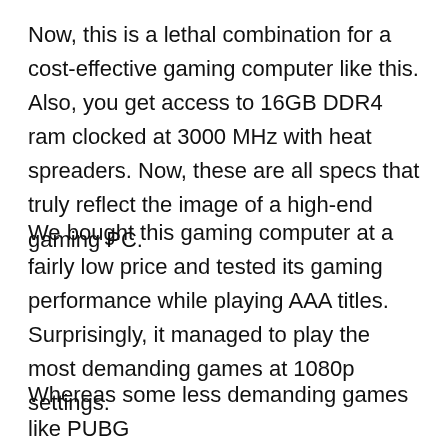Now, this is a lethal combination for a cost-effective gaming computer like this. Also, you get access to 16GB DDR4 ram clocked at 3000 MHz with heat spreaders. Now, these are all specs that truly reflect the image of a high-end gaming PC.
We bought this gaming computer at a fairly low price and tested its gaming performance while playing AAA titles. Surprisingly, it managed to play the most demanding games at 1080p settings.
Whereas some less demanding games like PUBG and Fortnite were easily playable at 1440p settings. And behind all this...